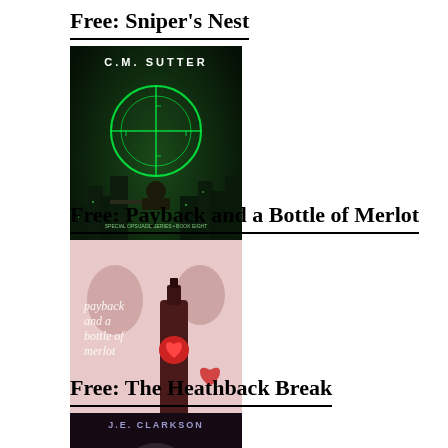Free: Sniper’s Nest
[Figure (illustration): Book cover for Sniper's Nest by C.M. Sutter. Dark green/teal background with city skyline, sniper crosshair, soldier with rifle, title text 'SNIPER'S NEST' at bottom.]
Free: Payback and a Bottle of Merlot
[Figure (illustration): Book cover for Payback and a Bottle of Merlot. Shows two people, a wine bottle, and a red heart. Text overlay reads 'payback and a bottle of merlot'. Subtitle: 'Fire Sisters Series - Book One'.]
Free: The Heathback Break
[Figure (illustration): Book cover for The Heathback Break by J.E. Clarkson. Dark background with silhouette of a figure in an archway or tunnel opening.]